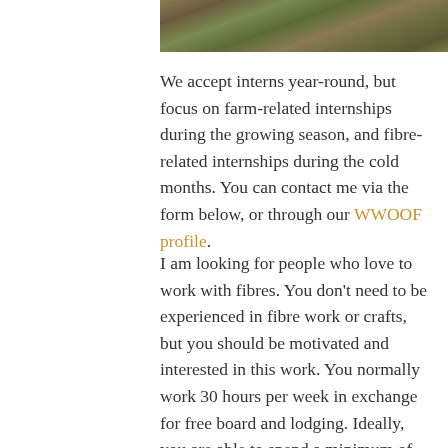[Figure (photo): Partial top image of a farm landscape, showing grassy/earthy terrain with water or green field in the background.]
We accept interns year-round, but focus on farm-related internships during the growing season, and fibre-related internships during the cold months. You can contact me via the form below, or through our WWOOF profile.
I am looking for people who love to work with fibres. You don't need to be experienced in fibre work or crafts, but you should be motivated and interested in this work. You normally work 30 hours per week in exchange for free board and lodging. Ideally, you are able to spend a minimum of one month here. You can expect the vast majority of your work to be fibre-related, but please know that there will be days when all of us will be very busy on...